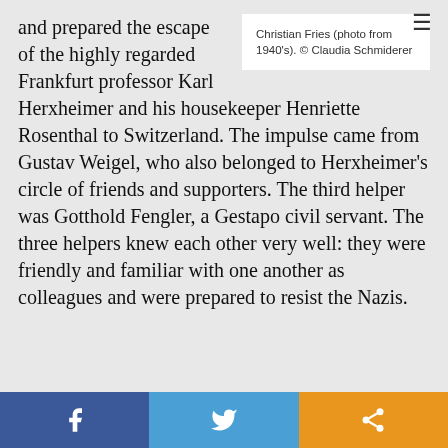and prepared the escape of the highly regarded Frankfurt professor Karl Herxheimer and his housekeeper Henriette Rosenthal to Switzerland. The impulse came from Gustav Weigel, who also belonged to Herxheimer's circle of friends and supporters. The third helper was Gotthold Fengler, a Gestapo civil servant. The three helpers knew each other very well: they were friendly and familiar with one another as colleagues and were prepared to resist the Nazis.
Christian Fries (photo from 1940's). © Claudia Schmiderer
f  [Twitter bird]  [Share icon]